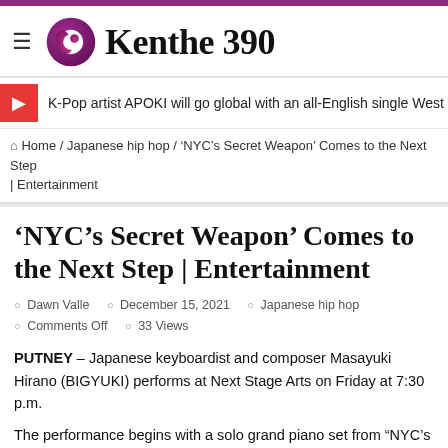Kenthe 390
K-Pop artist APOKI will go global with an all-English single West Swing feat.
Home / Japanese hip hop / ‘NYC’s Secret Weapon’ Comes to the Next Step | Entertainment
‘NYC’s Secret Weapon’ Comes to the Next Step | Entertainment
Dawn Valle  December 15, 2021  Japanese hip hop  Comments Off  33 Views
PUTNEY – Japanese keyboardist and composer Masayuki Hirano (BIGYUKI) performs at Next Stage Arts on Friday at 7:30 p.m.
The performance begins with a solo grand piano set from “NYC’s Secret Weapon”, followed by a trio set with Randy Runyan on guitar,